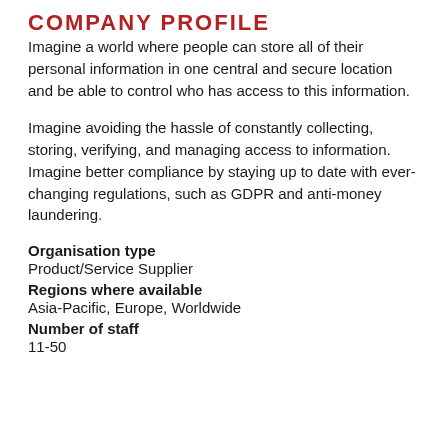COMPANY PROFILE
Imagine a world where people can store all of their personal information in one central and secure location and be able to control who has access to this information.
Imagine avoiding the hassle of constantly collecting, storing, verifying, and managing access to information. Imagine better compliance by staying up to date with ever-changing regulations, such as GDPR and anti-money laundering.
Organisation type
Product/Service Supplier
Regions where available
Asia-Pacific, Europe, Worldwide
Number of staff
11-50